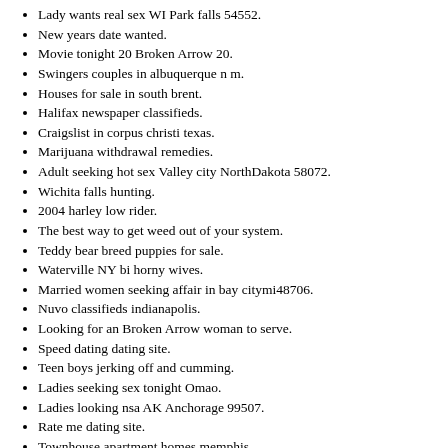Lady wants real sex WI Park falls 54552.
New years date wanted.
Movie tonight 20 Broken Arrow 20.
Swingers couples in albuquerque n m.
Houses for sale in south brent.
Halifax newspaper classifieds.
Craigslist in corpus christi texas.
Marijuana withdrawal remedies.
Adult seeking hot sex Valley city NorthDakota 58072.
Wichita falls hunting.
2004 harley low rider.
The best way to get weed out of your system.
Teddy bear breed puppies for sale.
Waterville NY bi horny wives.
Married women seeking affair in bay citymi48706.
Nuvo classifieds indianapolis.
Looking for an Broken Arrow woman to serve.
Speed dating dating site.
Teen boys jerking off and cumming.
Ladies seeking sex tonight Omao.
Ladies looking nsa AK Anchorage 99507.
Rate me dating site.
Townhouse apartment homes memphis.
Philippines single men.
email: qsfrstrkna@gmail.com - phone:(448) 160-6434 x 4694